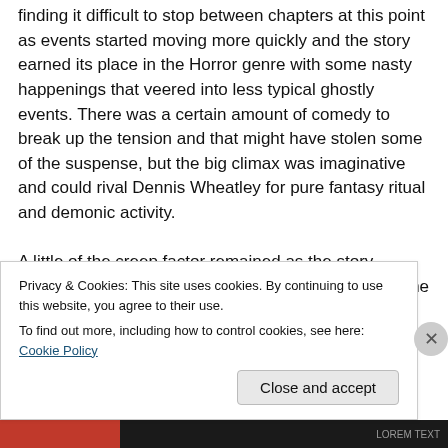finding it difficult to stop between chapters at this point as events started moving more quickly and the story earned its place in the Horror genre with some nasty happenings that veered into less typical ghostly events. There was a certain amount of comedy to break up the tension and that might have stolen some of the suspense, but the big climax was imaginative and could rival Dennis Wheatley for pure fantasy ritual and demonic activity.

A little of the creep factor remained as the story finished and I can imagine it all flooding back next time I look at a potential new house."
Privacy & Cookies: This site uses cookies. By continuing to use this website, you agree to their use.
To find out more, including how to control cookies, see here: Cookie Policy